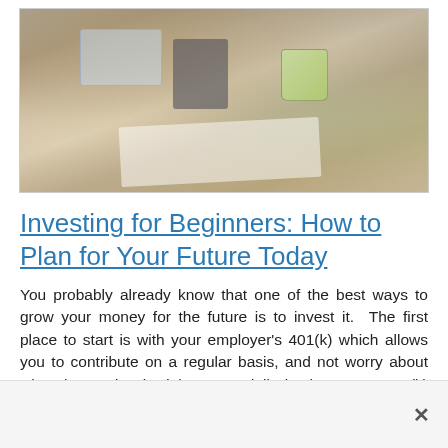[Figure (photo): Person sitting at a desk with a calculator, tablet, papers, and a green mug, suggesting financial planning or budgeting activity.]
Investing for Beginners: How to Plan for Your Future Today
You probably already know that one of the best ways to grow your money for the future is to invest it.  The first place to start is with your employer's 401(k) which allows you to contribute on a regular basis, and not worry about what the market is doing on a daily basis.  Many 401(k) plans offer a company matching percentage, which is supplemented money.  For example: your employer offers a 3% match, make sure that you're contributing at least 3% of your income to